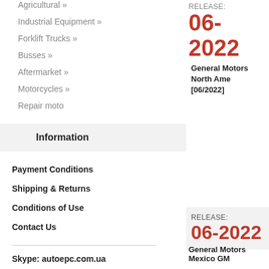Agricultural »
Industrial Equipment »
Forklift Trucks »
Busses »
Aftermarket »
Motorcycles »
Repair moto
Information
Payment Conditions
Shipping & Returns
Conditions of Use
Contact Us
Skype: autoepc.com.ua
RELEASE: 06-2022
General Motors North America [06/2022]
RELEASE: 06-2022
General Motors Mexico GM